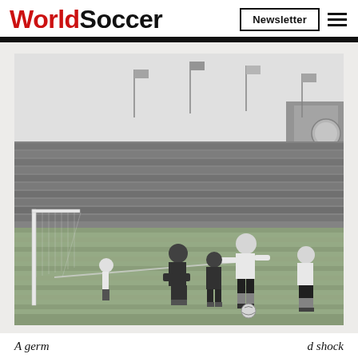WorldSoccer | Newsletter
[Figure (photo): Black and white photograph of a historical football/soccer match. Players in white shirts (Germany) compete near the goal against players in dark shirts. A large packed stadium crowd is visible in the background. One player in white dribbles a ball near the goal post while a goalkeeper in dark kit crouches. Another white-shirted player is visible on the right. The scene appears to be from the 1950s World Cup.]
A germ ... d shock